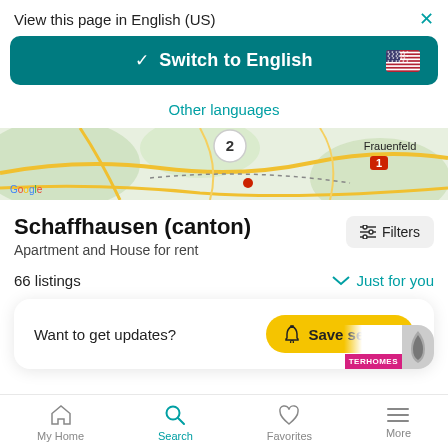View this page in English (US)
[Figure (screenshot): Switch to English button with teal background, checkmark, and US flag icon]
Other languages
[Figure (map): Google Maps strip showing region around Frauenfeld with road network]
Schaffhausen (canton)
Apartment and House for rent
66 listings
Just for you
Want to get updates?  Save search
My Home  Search  Favorites  More